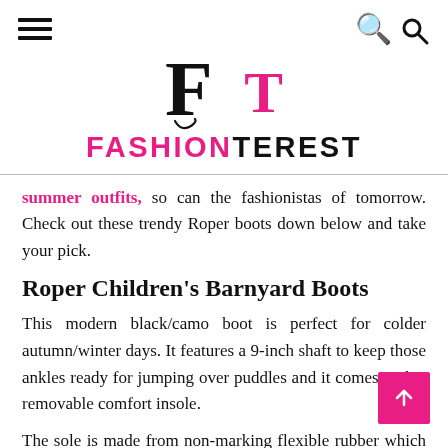Fashionterest — navigation bar with hamburger menu and search icon
[Figure (logo): Fashionterest logo with stylized F and T letters, F in black, T in pink, with decorative curl, and the wordmark FASHIONTEREST below in pink and black]
summer outfits, so can the fashionistas of tomorrow. Check out these trendy Roper boots down below and take your pick.
Roper Children's Barnyard Boots
This modern black/camo boot is perfect for colder autumn/winter days. It features a 9-inch shaft to keep those ankles ready for jumping over puddles and it comes with a removable comfort insole.
The sole is made from non-marking flexible rubber which allows unrestricted moving, running and walking and the